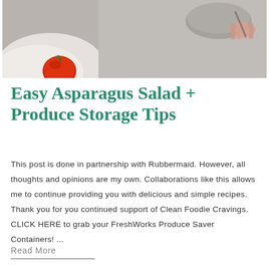[Figure (photo): Close-up photo of food preparation on a gray surface, showing a red tomato, a white cloth, and a hand holding a utensil near a bowl]
Easy Asparagus Salad + Produce Storage Tips
This post is done in partnership with Rubbermaid. However, all thoughts and opinions are my own. Collaborations like this allows me to continue providing you with delicious and simple recipes. Thank you for you continued support of Clean Foodie Cravings. CLICK HERE to grab your FreshWorks Produce Saver Containers! ...
Read More